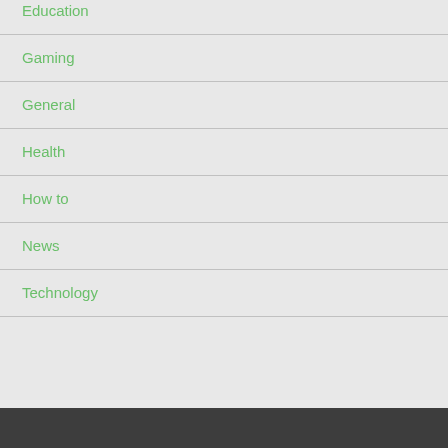Education
Gaming
General
Health
How to
News
Technology